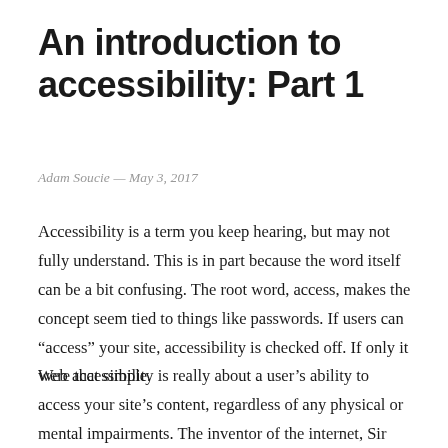An introduction to accessibility: Part 1
Adam Soucie — May 3, 2017
Accessibility is a term you keep hearing, but may not fully understand. This is in part because the word itself can be a bit confusing. The root word, access, makes the concept seem tied to things like passwords. If users can “access” your site, accessibility is checked off. If only it were that simple.
Web accessibility is really about a user’s ability to access your site’s content, regardless of any physical or mental impairments. The inventor of the internet, Sir